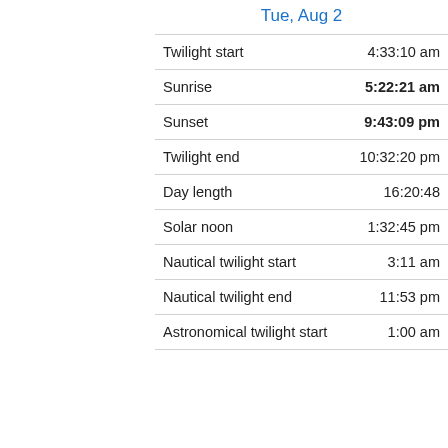| Tue, Aug 2 |  |
| --- | --- |
| Twilight start | 4:33:10 am |
| Sunrise | 5:22:21 am |
| Sunset | 9:43:09 pm |
| Twilight end | 10:32:20 pm |
| Day length | 16:20:48 |
| Solar noon | 1:32:45 pm |
| Nautical twilight start | 3:11 am |
| Nautical twilight end | 11:53 pm |
| Astronomical twilight start | 1:00 am |
[Figure (other): Lidl advertisement banner: Lidl logo (yellow circle with red/blue Lidl text on blue square background), text 'Lidl Groceries Are Low-Priced', subtitle 'Lidl', blue navigation/directions arrow icon. Below: play and close controls.]